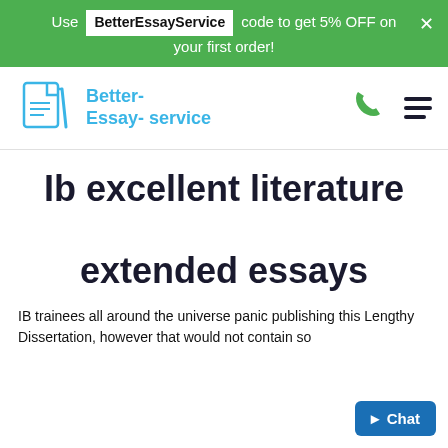Use BetterEssayService code to get 5% OFF on your first order!
[Figure (logo): Better-Essay-service logo with document and pen icon in light blue]
Ib excellent literature extended essays
IB trainees all around the universe panic publishing this Lengthy Dissertation, however that would not contain so